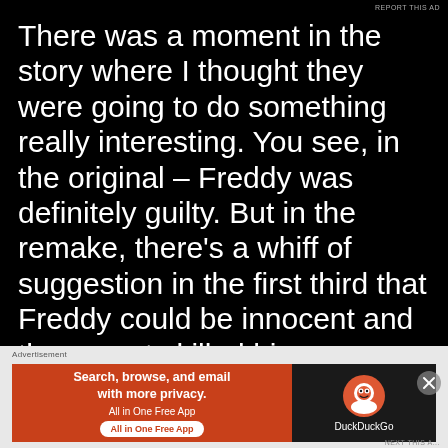REPORT THIS AD
There was a moment in the story where I thought they were going to do something really interesting. You see, in the original – Freddy was definitely guilty. But in the remake, there's a whiff of suggestion in the first third that Freddy could be innocent and the parents killed him erroneously. This would have been a great twist and added a much needed extra level to the plot – but sadly they didn't do that an
[Figure (screenshot): DuckDuckGo advertisement banner with orange left panel reading 'Search, browse, and email with more privacy. All in One Free App' and dark right panel with DuckDuckGo logo]
NEXT THIS A...